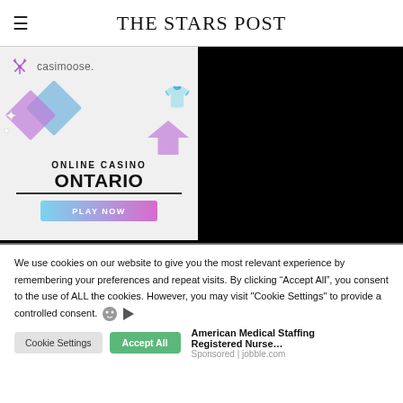THE STARS POST
[Figure (illustration): Casimoose online casino Ontario advertisement with 'PLAY NOW' button. Left half shows the ad on white background; right half is black.]
We use cookies on our website to give you the most relevant experience by remembering your preferences and repeat visits. By clicking “Accept All”, you consent to the use of ALL the cookies. However, you may visit “Cookie Settings” to provide a controlled consent.
Cookie Settings | Accept All
American Medical Staffing Registered Nurse…
Sponsored | jobble.com